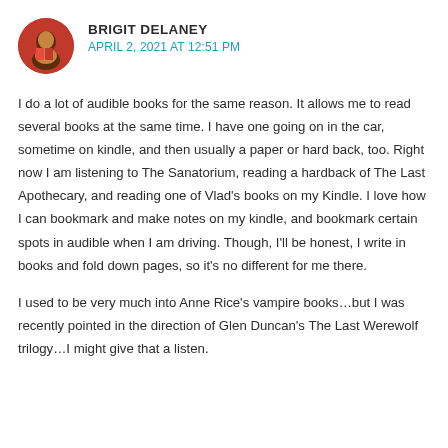BRIGIT DELANEY — APRIL 2, 2021 AT 12:51 PM
I do a lot of audible books for the same reason. It allows me to read several books at the same time. I have one going on in the car, sometime on kindle, and then usually a paper or hard back, too. Right now I am listening to The Sanatorium, reading a hardback of The Last Apothecary, and reading one of Vlad's books on my Kindle. I love how I can bookmark and make notes on my kindle, and bookmark certain spots in audible when I am driving. Though, I'll be honest, I write in books and fold down pages, so it's no different for me there.
I used to be very much into Anne Rice's vampire books…but I was recently pointed in the direction of Glen Duncan's The Last Werewolf trilogy…I might give that a listen.